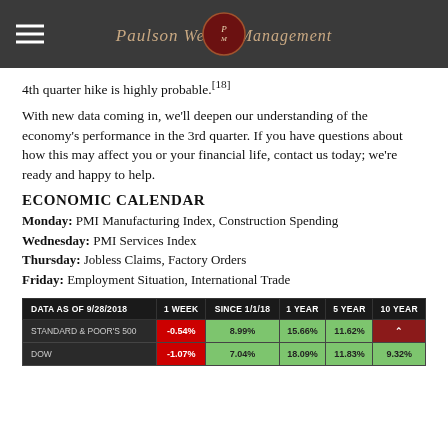Paulson Wealth Management
4th quarter hike is highly probable.[18]
With new data coming in, we'll deepen our understanding of the economy's performance in the 3rd quarter. If you have questions about how this may affect you or your financial life, contact us today; we're ready and happy to help.
ECONOMIC CALENDAR
Monday: PMI Manufacturing Index, Construction Spending
Wednesday: PMI Services Index
Thursday: Jobless Claims, Factory Orders
Friday: Employment Situation, International Trade
| DATA AS OF 9/28/2018 | 1 WEEK | SINCE 1/1/18 | 1 YEAR | 5 YEAR | 10 YEAR |
| --- | --- | --- | --- | --- | --- |
| STANDARD & POOR'S 500 | -0.54% | 8.99% | 15.66% | 11.62% |  |
| DOW | -1.07% | 7.04% | 18.09% | 11.83% | 9.32% |